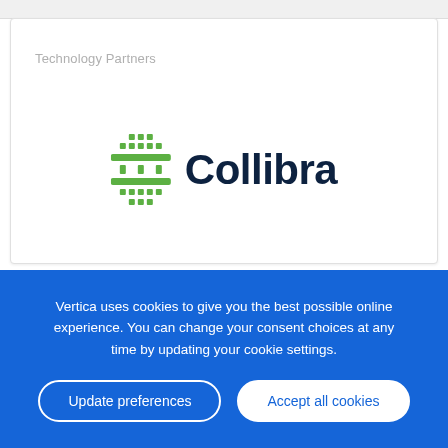Technology Partners
[Figure (logo): Collibra logo consisting of a green grid/hashtag-style icon made of rectangles and dots next to the word Collibra in dark navy bold text]
Vertica uses cookies to give you the best possible online experience. You can change your consent choices at any time by updating your cookie settings.
Update preferences
Accept all cookies